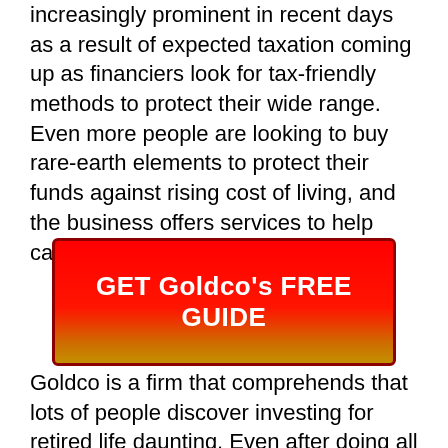increasingly prominent in recent days as a result of expected taxation coming up as financiers look for tax-friendly methods to protect their wide range. Even more people are looking to buy rare-earth elements to protect their funds against rising cost of living, and the business offers services to help capitalists with this.
[Figure (other): Red-to-gold gradient button with white bold text reading 'GET Goldco's FREE GUIDE']
Goldco is a firm that comprehends that lots of people discover investing for retired life daunting. Even after doing all the appropriate points when spending their savings, often a shift in the economy can